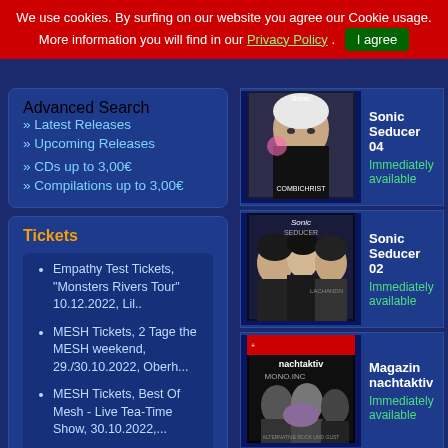We use cookies. By surfing on our website you agree our Cookie usage. More information you will find in our Privacy Policy . I agree
» Latest Releases
» Upcoming Releases
» CDs up to 3,00€
» Compilations up to 3,00€
Tickets
Empathy Test Tickets, "Monsters Rivers Tour" 10.12.2022, Lil..
MESH Tickets, 2 Tage the MESH weekend, 29./30.10.2022, Oberh...
MESH Tickets, Best Of Mesh - Live Tea-Time Show, 30.10.2022,...
Categories
[Figure (photo): Sonic Seducer 04 magazine cover showing a pale man with blonde/white hair]
Sonic Seducer 04
Immediately available
[Figure (photo): Sonic Seducer 02 magazine cover showing three people - two men and a woman]
Sonic Seducer 02
Immediately available
[Figure (photo): Magazin nachtaktiv cover showing band members in dark clothing]
Magazin nachtaktiv
Immediately available